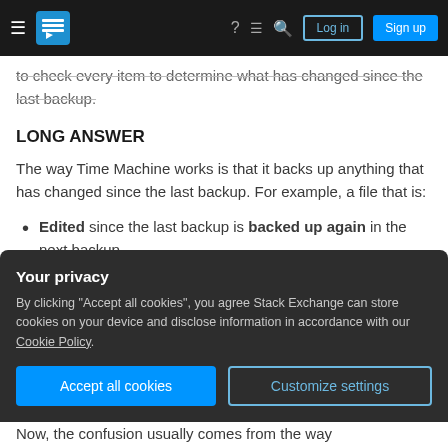Stack Exchange navigation bar with hamburger menu, logo, help, chat, search icons, Login and Sign up buttons
to check every item to determine what has changed since the last backup.
LONG ANSWER
The way Time Machine works is that it backs up anything that has changed since the last backup. For example, a file that is:
Edited since the last backup is backed up again in the next backup
Created since the last backup is backed up in
Your privacy
By clicking "Accept all cookies", you agree Stack Exchange can store cookies on your device and disclose information in accordance with our Cookie Policy.
Now, the confusion usually comes from the way